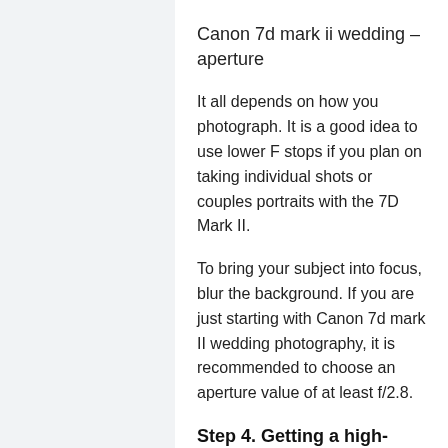Canon 7d mark ii wedding – aperture
It all depends on how you photograph. It is a good idea to use lower F stops if you plan on taking individual shots or couples portraits with the 7D Mark II.
To bring your subject into focus, blur the background. If you are just starting with Canon 7d mark II wedding photography, it is recommended to choose an aperture value of at least f/2.8.
Step 4. Getting a high-quality flash...